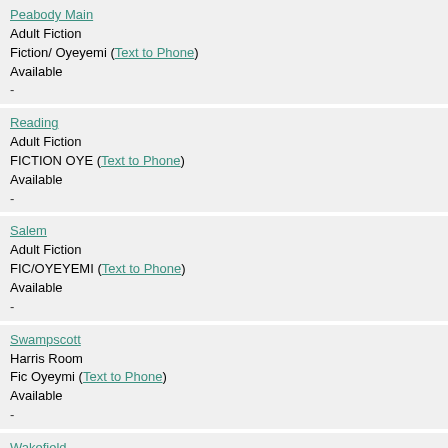Peabody Main
Adult Fiction
Fiction/ Oyeyemi (Text to Phone)
Available
-
Reading
Adult Fiction
FICTION OYE (Text to Phone)
Available
-
Salem
Adult Fiction
FIC/OYEYEMI (Text to Phone)
Available
-
Swampscott
Harris Room
Fic Oyeymi (Text to Phone)
Available
-
Wakefield
Adult Fiction (Lower Level)
FICTION Oyeyemi, H. (Text to Phone)
Available
-
View other formats and editions